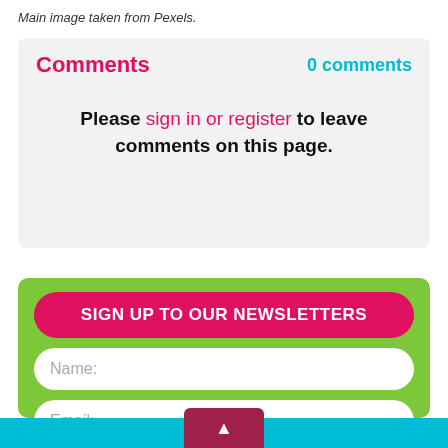Main image taken from Pexels.
Comments
0 comments
Please sign in or register to leave comments on this page.
SIGN UP TO OUR NEWSLETTERS
Name:
Email:
SIGN UP